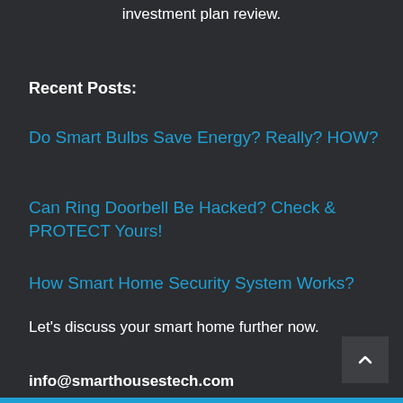investment plan review.
Recent Posts:
Do Smart Bulbs Save Energy? Really? HOW?
Can Ring Doorbell Be Hacked? Check & PROTECT Yours!
How Smart Home Security System Works?
Let's discuss your smart home further now.
info@smarthousestech.com